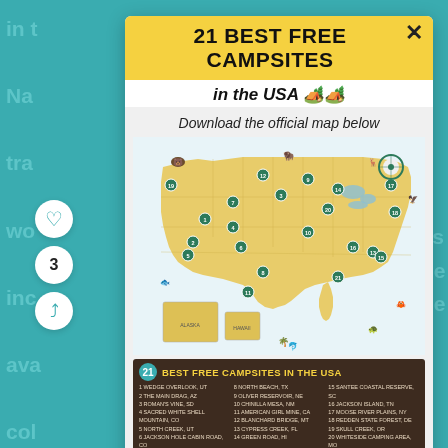21 BEST FREE CAMPSITES in the USA 🏕️
Download the official map below
[Figure (map): Illustrated map of the USA showing 21 best free campsite locations marked with numbered icons across various states, with wildlife and nature illustrations surrounding the map. Bottom bar reads '21 BEST FREE CAMPSITES IN THE USA' with a numbered list of all 21 sites.]